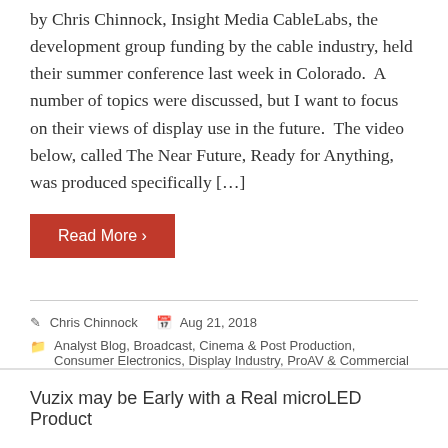by Chris Chinnock, Insight Media CableLabs, the development group funding by the cable industry, held their summer conference last week in Colorado.  A number of topics were discussed, but I want to focus on their views of display use in the future.  The video below, called The Near Future, Ready for Anything, was produced specifically […]
Read More ›
Chris Chinnock   Aug 21, 2018
Analyst Blog, Broadcast, Cinema & Post Production, Consumer Electronics, Display Industry, ProAV & Commercial
Vuzix may be Early with a Real microLED Product